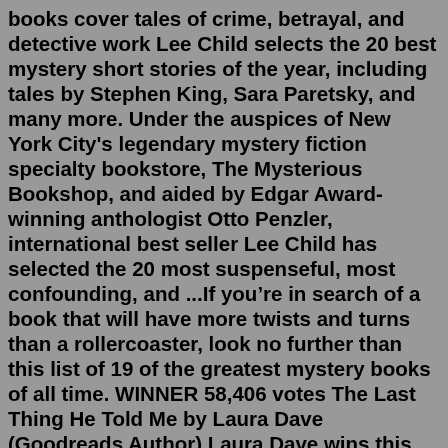books cover tales of crime, betrayal, and detective work Lee Child selects the 20 best mystery short stories of the year, including tales by Stephen King, Sara Paretsky, and many more. Under the auspices of New York City's legendary mystery fiction specialty bookstore, The Mysterious Bookshop, and aided by Edgar Award-winning anthologist Otto Penzler, international best seller Lee Child has selected the 20 most suspenseful, most confounding, and ...If you&#x2019;re in search of a book that will have more twists and turns than a rollercoaster, look no further than this list of 19 of the greatest mystery books of all time. WINNER 58,406 votes The Last Thing He Told Me by Laura Dave (Goodreads Author) Laura Dave wins this year's Mystery & Thriller award for The Last Thing He Told Me, in which a mother and her stepdaughter try to unwind a lethally knotted secret. When Owen Michaels disappeared, he left his new wife, Hannah, a single cryptic message: Protect her.Open Preview. WINNER 58,406 votes The Last Thing He Told Me by L...